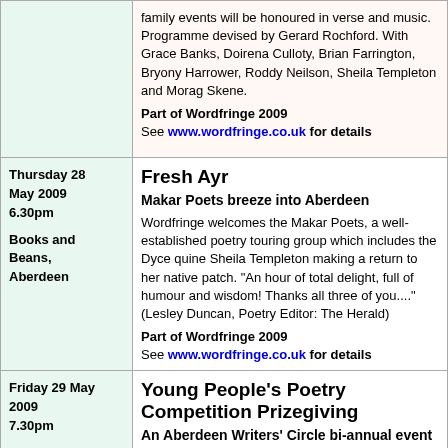family events will be honoured in verse and music. Programme devised by Gerard Rochford. With Grace Banks, Doirena Culloty, Brian Farrington, Bryony Harrower, Roddy Neilson, Sheila Templeton and Morag Skene.
Part of Wordfringe 2009
See www.wordfringe.co.uk for details
Thursday 28 May 2009 6.30pm
Books and Beans, Aberdeen
Fresh Ayr
Makar Poets breeze into Aberdeen
Wordfringe welcomes the Makar Poets, a well-established poetry touring group which includes the Dyce quine Sheila Templeton making a return to her native patch. "An hour of total delight, full of humour and wisdom! Thanks all three of you...." (Lesley Duncan, Poetry Editor: The Herald)
Part of Wordfringe 2009
See www.wordfringe.co.uk for details
Friday 29 May 2009 7.30pm
Crown Terrace Methodist Church, Aberdeen
Young People's Poetry Competition Prizegiving
An Aberdeen Writers' Circle bi-annual event
This event, run every two years by Aberdeen Writers' Circle, involves children from primary and secondary schools in Aberdeen and the Shire. The last similar event, run in 2007 as part of